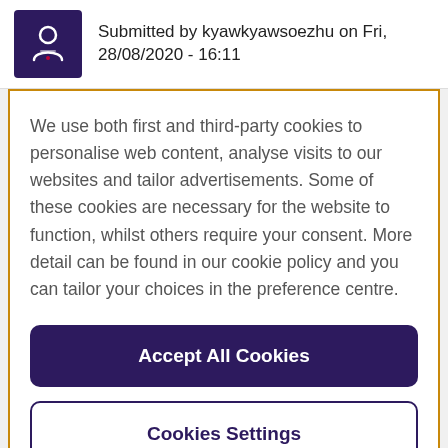Submitted by kyawkyawsoezhu on Fri, 28/08/2020 - 16:11
We use both first and third-party cookies to personalise web content, analyse visits to our websites and tailor advertisements. Some of these cookies are necessary for the website to function, whilst others require your consent. More detail can be found in our cookie policy and you can tailor your choices in the preference centre.
Accept All Cookies
Cookies Settings